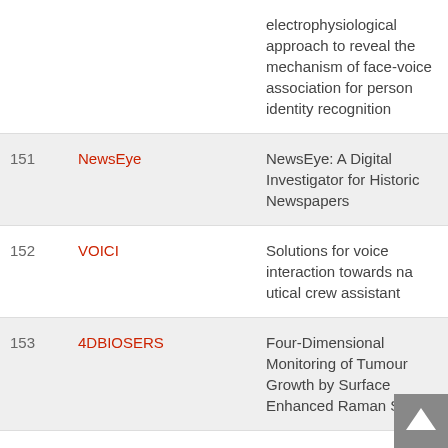| # | Acronym | Title |
| --- | --- | --- |
|  |  | electrophysiological approach to reveal the mechanism of face-voice association for person identity recognition |
| 151 | NewsEye | NewsEye: A Digital Investigator for Historic Newspapers |
| 152 | VOICI | Solutions for voice interaction towards nautical crew assistant |
| 153 | 4DBIOSERS | Four-Dimensional Monitoring of Tumour Growth by Surface Enhanced Raman Scatt... |
| 154 | LEAP-EXTREME | Local Edaphic Adaptation of Plants through Leverage an Extremophile Mode... |